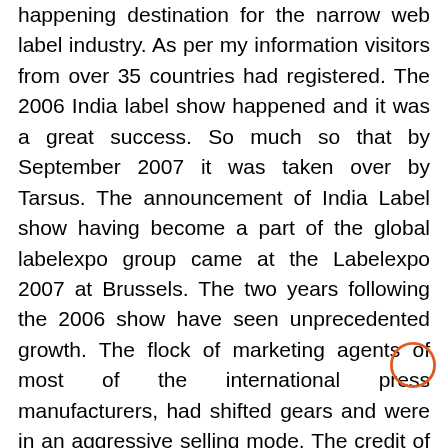happening destination for the narrow web label industry. As per my information visitors from over 35 countries had registered. The 2006 India label show happened and it was a great success. So much so that by September 2007 it was taken over by Tarsus. The announcement of India Label show having become a part of the global labelexpo group came at the Labelexpo 2007 at Brussels. The two years following the 2006 show have seen unprecedented growth. The flock of marketing agents of most of the international press manufacturers, had shifted gears and were in an aggressive selling mode. The credit of expanding this market goes to the likes of Gaurav Roy selling all those Mark Andy's, Ranesh Bajaj selling Rotateks, Lintec, Omega, etc. Amit Sheth selling Focus and Orthotec, Heidelberg selling Gallus machine. Vijay Pareekh offering MPS.